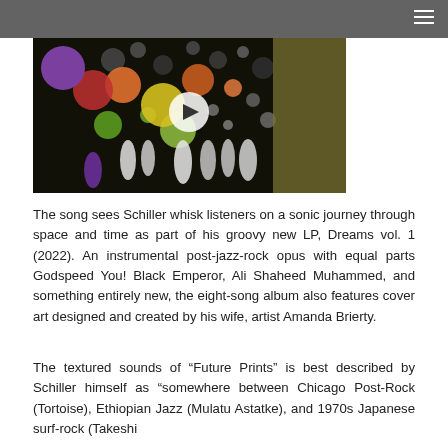[Figure (screenshot): Video thumbnail showing colorful circles/orbs artwork on a dark background with a play button overlay; a purple circle logo is visible top-left of the video player.]
The song sees Schiller whisk listeners on a sonic journey through space and time as part of his groovy new LP, Dreams vol. 1 (2022). An instrumental post-jazz-rock opus with equal parts Godspeed You! Black Emperor, Ali Shaheed Muhammed, and something entirely new, the eight-song album also features cover art designed and created by his wife, artist Amanda Brierty.
The textured sounds of “Future Prints” is best described by Schiller himself as “somewhere between Chicago Post-Rock (Tortoise), Ethiopian Jazz (Mulatu Astatke), and 1970s Japanese surf-rock (Takeshi Terauchi)”. As one can see, Schiller has mixed